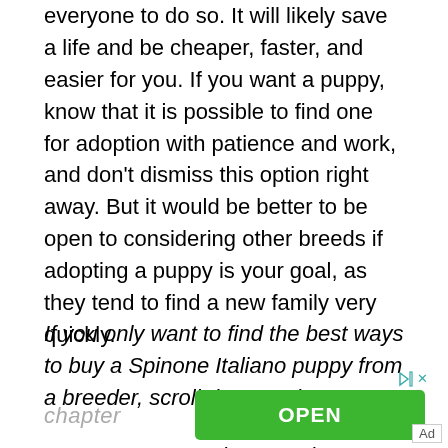everyone to do so. It will likely save a life and be cheaper, faster, and easier for you. If you want a puppy, know that it is possible to find one for adoption with patience and work, and don't dismiss this option right away. But it would be better to be open to considering other breeds if adopting a puppy is your goal, as they tend to find a new family very quickly.
If you only want to find the best ways to buy a Spinone Italiano puppy from a breeder, scroll down to the next chapter
[Figure (other): Advertisement banner with a green OPEN button and 'Book A Demo Today' text, with ad control icons (play/close) in the top right corner and an 'Ad' label at the bottom right.]